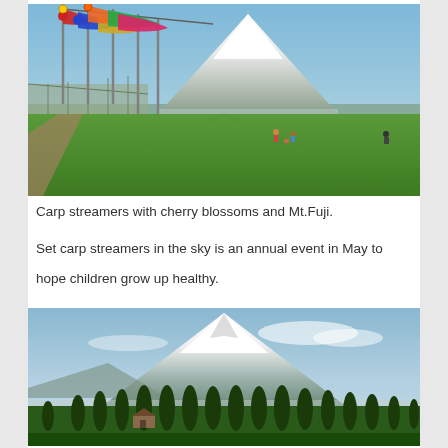[Figure (photo): Colorful carp streamers (koinobori) flying on poles against a clear blue sky, with a wide green field in the foreground and snow-capped Mt. Fuji visible in the background.]
Carp streamers with cherry blossoms and Mt.Fuji.
Set carp streamers in the sky is an annual event in May to hope children grow up healthy.
[Figure (photo): Snow-capped Mt. Fuji viewed from ground level with a row of tall dark green cypress trees in the foreground and blue sky with some clouds.]